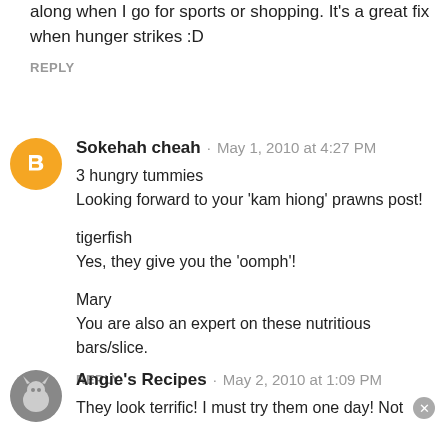along when I go for sports or shopping. It's a great fix when hunger strikes :D
REPLY
Sokehah cheah · May 1, 2010 at 4:27 PM
3 hungry tummies
Looking forward to your 'kam hiong' prawns post!

tigerfish
Yes, they give you the 'oomph'!

Mary
You are also an expert on these nutritious bars/slice.
REPLY
Angie's Recipes · May 2, 2010 at 1:09 PM
They look terrific! I must try them one day! Not